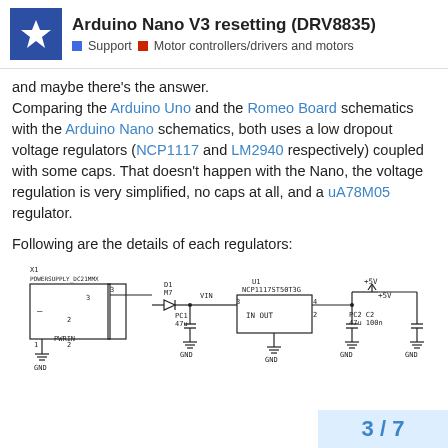Arduino Nano V3 resetting (DRV8835) | Support | Motor controllers/drivers and motors
and maybe there's the answer.
Comparing the Arduino Uno and the Romeo Board schematics with the Arduino Nano schematics, both uses a low dropout voltage regulators (NCP1117 and LM2940 respectively) coupled with some caps. That doesn't happen with the Nano, the voltage regulation is very simplified, no caps at all, and a uA78M05 regulator.
Following are the details of each regulators:
[Figure (schematic): Electronic schematic showing power supply circuit with X1 POWERSUPPLY_DC21MMX connector, diode D1 M7, capacitor PC1 47u, NCP1117ST50T3G voltage regulator U1 with VIN and OUT connections, capacitors PC2 47u and C2 100n, +5V output, and multiple GND connections.]
3 / 7